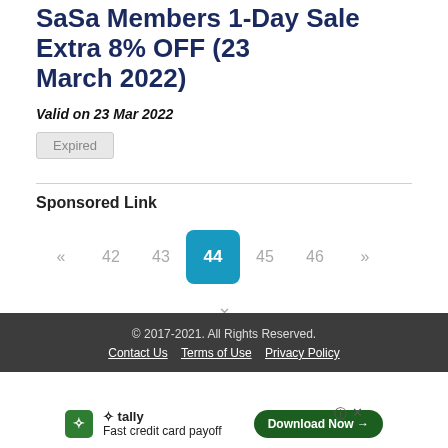SaSa Members 1-Day Sale Extra 8% OFF (23 March 2022)
Valid on 23 Mar 2022
Expired
Sponsored Link
« 42 43 44 45 46 »
© 2017-2021. All Rights Reserved. Contact Us  Terms of Use  Privacy Policy
[Figure (screenshot): Tally app advertisement banner: green icon, Fast credit card payoff, Download Now button]